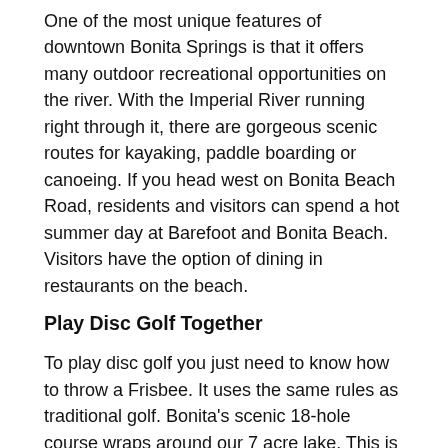One of the most unique features of downtown Bonita Springs is that it offers many outdoor recreational opportunities on the river. With the Imperial River running right through it, there are gorgeous scenic routes for kayaking, paddle boarding or canoeing. If you head west on Bonita Beach Road, residents and visitors can spend a hot summer day at Barefoot and Bonita Beach. Visitors have the option of dining in restaurants on the beach.
Play Disc Golf Together
To play disc golf you just need to know how to throw a Frisbee. It uses the same rules as traditional golf. Bonita's scenic 18-hole course wraps around our 7 acre lake. This is an exciting game for the whole family and a great workout. The disc golf course has amateur tee pads for the beginner and pro pads for the more advanced player. There is no charge to play! Those wishing to play can go to the Recreation Center, located at 26740 Pine Avenue off of West Terry Street. The Recreation Center will provide a map and score card. People usually bring their own equipment, though discs are available for